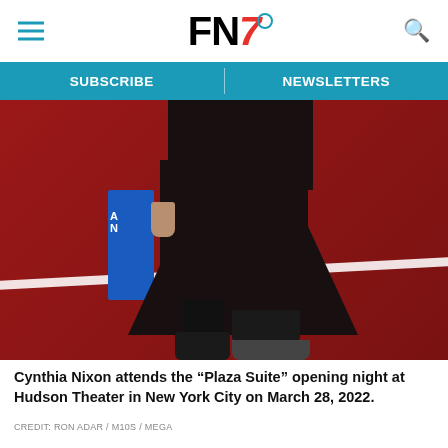FN7 — Footwear News
[Figure (photo): Photo of Cynthia Nixon attending the Plaza Suite opening night, wearing a black patterned midi skirt and dark boots, standing on a red carpet in front of a red backdrop with a blue American Express sign partially visible. Shot from waist/torso down.]
Cynthia Nixon attends the “Plaza Suite” opening night at Hudson Theater in New York City on March 28, 2022.
CREDIT: RON ADAR / M10S / MEGA